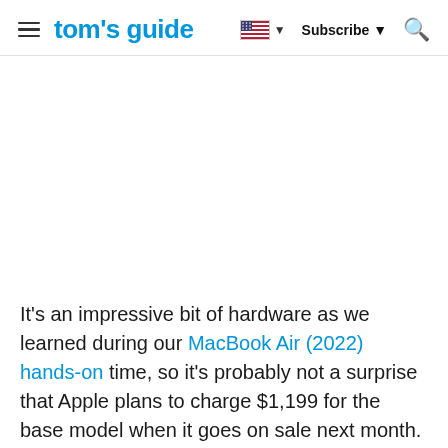tom's guide | Subscribe | Search
[Figure (other): Large empty advertisement/image area in white/light grey]
It's an impressive bit of hardware as we learned during our MacBook Air (2022) hands-on time, so it's probably not a surprise that Apple plans to charge $1,199 for the base model when it goes on sale next month. That's a $200 premium over what the